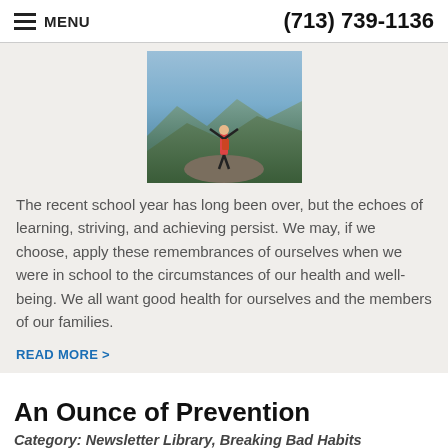MENU   (713) 739-1136
[Figure (photo): Person with arms raised standing on a rocky outcrop with mountain landscape in background]
The recent school year has long been over, but the echoes of learning, striving, and achieving persist. We may, if we choose, apply these remembrances of ourselves when we were in school to the circumstances of our health and well-being. We all want good health for ourselves and the members of our families.
READ MORE >
An Ounce of Prevention
Category: Newsletter Library, Breaking Bad Habits
[Figure (photo): Man and woman shown from shoulders up, appearing to be a couple]